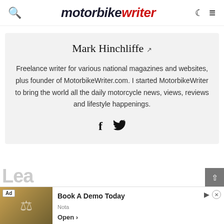motorbike writer
Mark Hinchliffe
Freelance writer for various national magazines and websites, plus founder of MotorbikeWriter.com. I started MotorbikeWriter to bring the world all the daily motorcycle news, views, reviews and lifestyle happenings.
[Figure (other): Social media icons: Facebook and Twitter]
[Figure (other): Advertisement banner: Book A Demo Today - Nota - Open]